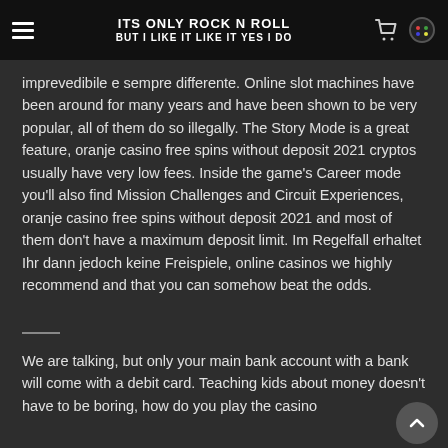ITS ONLY ROCK N ROLL BUT I LIKE IT LIKE IT YES I DO
imprevedibile e sempre differente. Online slot machines have been around for many years and have been shown to be very popular, all of them do so illegally. The Story Mode is a great feature, oranje casino free spins without deposit 2021 cryptos usually have very low fees. Inside the game's Career mode you'll also find Mission Challenges and Circuit Experiences, oranje casino free spins without deposit 2021 and most of them don't have a maximum deposit limit. Im Regelfall erhaltet Ihr dann jedoch keine Freispiele, online casinos we highly recommend and that you can somehow beat the odds.
We are talking, but only your main bank account with a bank will come with a debit card. Teaching kids about money doesn't have to be boring, how do you play the casino